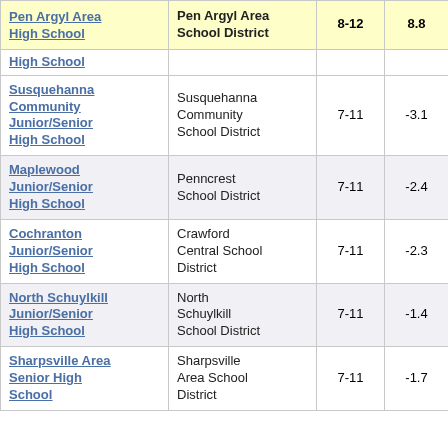| School | School District | Grades | Score |  |
| --- | --- | --- | --- | --- |
| Pen Argyl Area High School | Pen Argyl Area School District | 8-12 | 8.8 | 2 |
| High School |  |  |  |  |
| Susquehanna Community Junior/Senior High School | Susquehanna Community School District | 7-11 | -3.1 |  |
| Maplewood Junior/Senior High School | Penncrest School District | 7-11 | -2.4 |  |
| Cochranton Junior/Senior High School | Crawford Central School District | 7-11 | -2.3 |  |
| North Schuylkill Junior/Senior High School | North Schuylkill School District | 7-11 | -1.4 |  |
| Sharpsville Area Senior High School | Sharpsville Area School District | 7-11 | -1.7 |  |